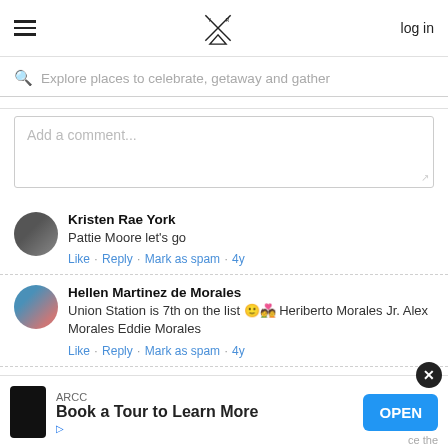log in
Explore places to celebrate, getaway and gather
Add a comment...
Kristen Rae York
Pattie Moore let's go
Like · Reply · Mark as spam · 4y
Hellen Martinez de Morales
Union Station is 7th on the list 🙂 Heriberto Morales Jr. Alex Morales Eddie Morales
Like · Reply · Mark as spam · 4y
[Figure (screenshot): ARCC advertisement banner: Book a Tour to Learn More, with OPEN button and close X button]